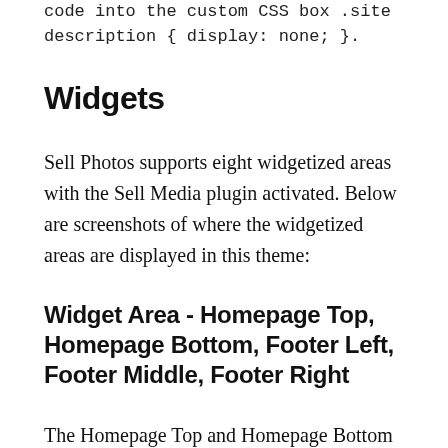code into the custom CSS box .site description { display: none; }.
Widgets
Sell Photos supports eight widgetized areas with the Sell Media plugin activated. Below are screenshots of where the widgetized areas are displayed in this theme:
Widget Area - Homepage Top, Homepage Bottom, Footer Left, Footer Middle, Footer Right
The Homepage Top and Homepage Bottom